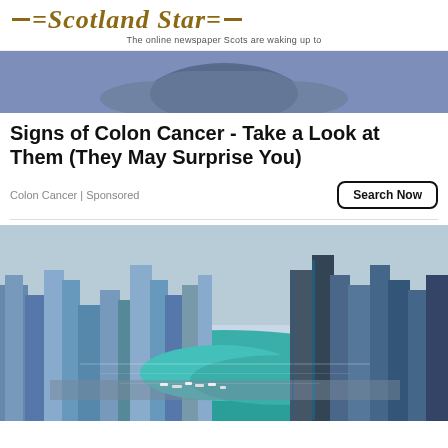=Scotland Star= The online newspaper Scots are waking up to
[Figure (photo): Close-up photo of person in jeans, cropped to show waistband area]
Signs of Colon Cancer - Take a Look at Them (They May Surprise You)
Colon Cancer | Sponsored
Search Now
[Figure (photo): Aerial photograph of a modern city marina with skyscrapers and waterway, likely Dubai Marina]